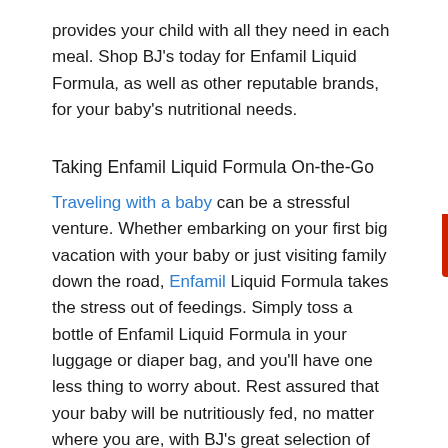provides your child with all they need in each meal. Shop BJ's today for Enfamil Liquid Formula, as well as other reputable brands, for your baby's nutritional needs.
Taking Enfamil Liquid Formula On-the-Go
Traveling with a baby can be a stressful venture. Whether embarking on your first big vacation with your baby or just visiting family down the road, Enfamil Liquid Formula takes the stress out of feedings. Simply toss a bottle of Enfamil Liquid Formula in your luggage or diaper bag, and you'll have one less thing to worry about. Rest assured that your baby will be nutritiously fed, no matter where you are, with BJ's great selection of ready-to-feed formulas.